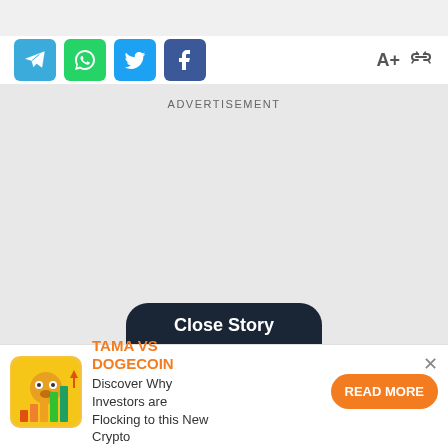[Figure (screenshot): Top gray bar placeholder]
[Figure (infographic): Social share buttons row: Telegram (blue), WhatsApp (green), Twitter (blue), Facebook (dark blue), plus font size A+ and link icon on the right]
ADVERTISEMENT
[Figure (other): Large gray advertisement placeholder area with Close Story dark button at the bottom]
TAMA VS DOGECOIN
Discover Why Investors are Flocking to this New Crypto
READ MORE